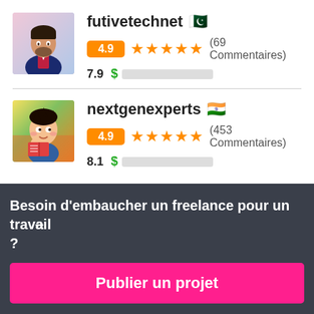[Figure (photo): Profile photo of futivetechnet - man in suit]
futivetechnet 🇵🇰
4.9 ★★★★★ (69 Commentaires)
7.9 $ ██████████
[Figure (photo): Profile photo of nextgenexperts - cartoon boy reading]
nextgenexperts 🇮🇳
4.9 ★★★★★ (453 Commentaires)
8.1 $ ██████████
Besoin d'embaucher un freelance pour un travail ?
Publier un projet